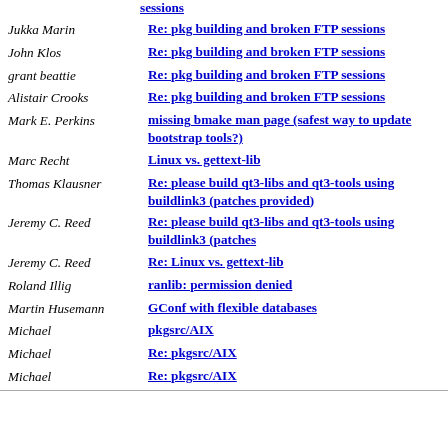sessions (link)
Jukka Marin | Re: pkg building and broken FTP sessions
John Klos | Re: pkg building and broken FTP sessions
grant beattie | Re: pkg building and broken FTP sessions
Alistair Crooks | Re: pkg building and broken FTP sessions
Mark E. Perkins | missing bmake man page (safest way to update bootstrap tools?)
Marc Recht | Linux vs. gettext-lib
Thomas Klausner | Re: please build qt3-libs and qt3-tools using buildlink3 (patches provided)
Jeremy C. Reed | Re: please build qt3-libs and qt3-tools using buildlink3 (patches
Jeremy C. Reed | Re: Linux vs. gettext-lib
Roland Illig | ranlib: permission denied
Martin Husemann | GConf with flexible databases
Michael | pkgsrc/AIX
Michael | Re: pkgsrc/AIX
Michael | Re: pkgsrc/AIX